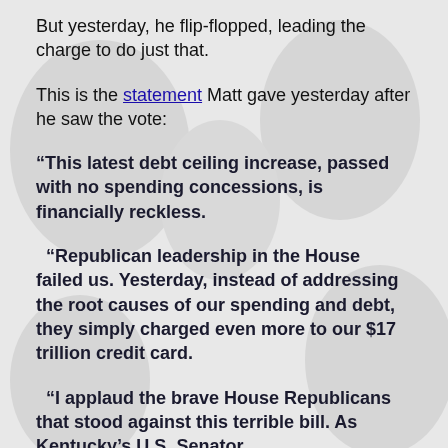But yesterday, he flip-flopped, leading the charge to do just that.
This is the statement Matt gave yesterday after he saw the vote:
“This latest debt ceiling increase, passed with no spending concessions, is financially reckless.
“Republican leadership in the House failed us. Yesterday, instead of addressing the root causes of our spending and debt, they simply charged even more to our $17 trillion credit card.
“I applaud the brave House Republicans that stood against this terrible bill. As Kentucky’s U.S. Senator,